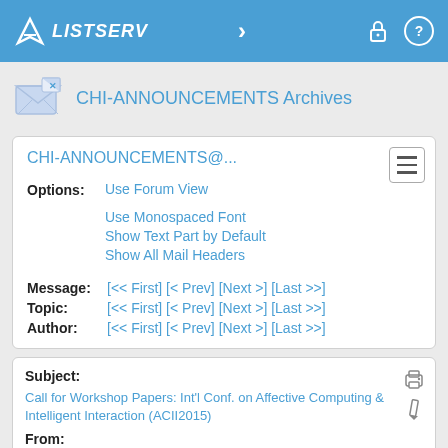LISTSERV
CHI-ANNOUNCEMENTS Archives
CHI-ANNOUNCEMENTS@...
Options: Use Forum View
Use Monospaced Font
Show Text Part by Default
Show All Mail Headers
Message: [<< First] [< Prev] [Next >] [Last >>]
Topic: [<< First] [< Prev] [Next >] [Last >>]
Author: [<< First] [< Prev] [Next >] [Last >>]
Subject: Call for Workshop Papers: Int'l Conf. on Affective Computing & Intelligent Interaction (ACII2015)
From: